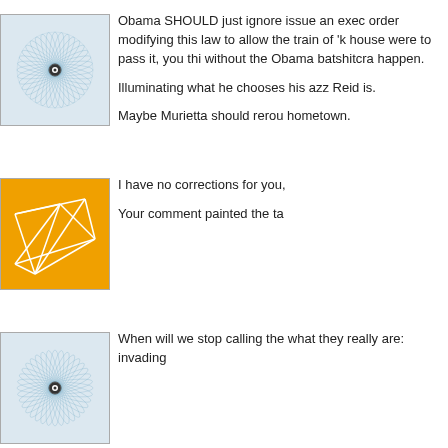[Figure (illustration): Blue-grey spirograph avatar icon]
Obama SHOULD just ignore issue an exec order modifying this law to allow the train of 'k house were to pass it, you thi without the Obama batshitcra happen.

Illuminating what he chooses his azz Reid is.

Maybe Murietta should rerou hometown.
[Figure (illustration): Orange geometric network avatar icon]
I have no corrections for you,

Your comment painted the ta
[Figure (illustration): Blue-grey spirograph avatar icon (second instance)]
When will we stop calling the what they really are: invading